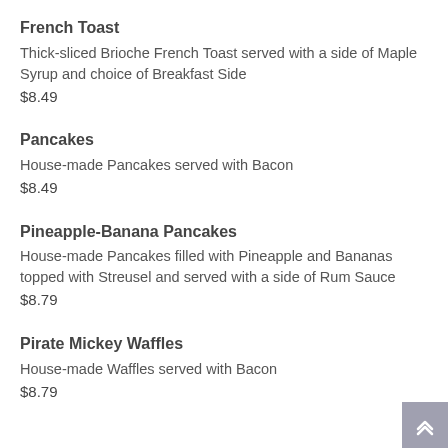French Toast
Thick-sliced Brioche French Toast served with a side of Maple Syrup and choice of Breakfast Side
$8.49
Pancakes
House-made Pancakes served with Bacon
$8.49
Pineapple-Banana Pancakes
House-made Pancakes filled with Pineapple and Bananas topped with Streusel and served with a side of Rum Sauce
$8.79
Pirate Mickey Waffles
House-made Waffles served with Bacon
$8.79